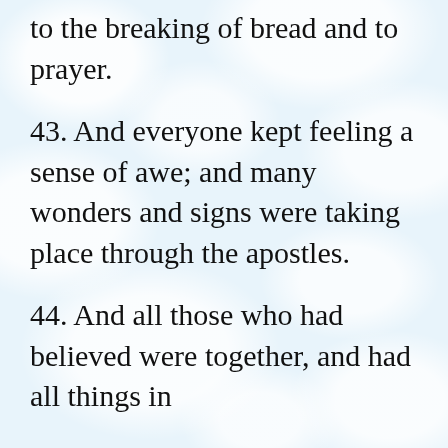to the breaking of bread and to prayer.
43. And everyone kept feeling a sense of awe; and many wonders and signs were taking place through the apostles.
44. And all those who had believed were together, and had all things in